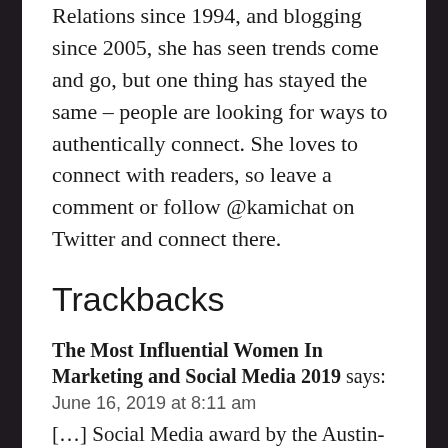Relations since 1994, and blogging since 2005, she has seen trends come and go, but one thing has stayed the same – people are looking for ways to authentically connect. She loves to connect with readers, so leave a comment or follow @kamichat on Twitter and connect there.
Trackbacks
The Most Influential Women In Marketing and Social Media 2019 says: June 16, 2019 at 8:11 am [...] Social Media award by the Austin-